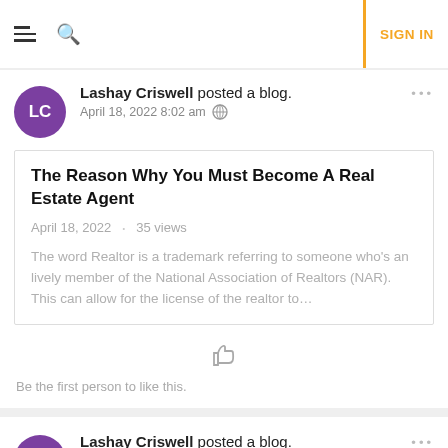SIGN IN
Lashay Criswell posted a blog. April 18, 2022 8:02 am
The Reason Why You Must Become A Real Estate Agent
April 18, 2022 · 35 views
The word Realtor is a trademark referring to someone who's an lively member of the National Association of Realtors (NAR). This can allow for the license of the realtor to…
Be the first person to like this.
Lashay Criswell posted a blog. April 17, 2022 7:17 pm